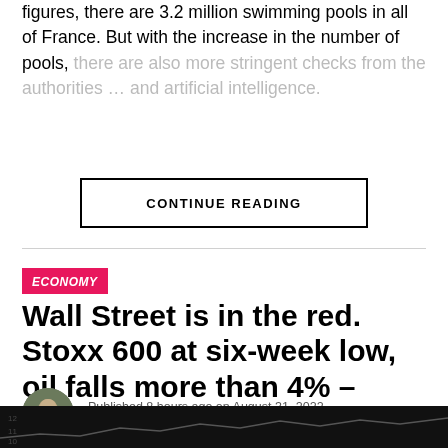figures, there are 3.2 million swimming pools in all of France. But with the increase in the number of pools, there are also more stringent checks from the authorities … and artificial intelligence.
CONTINUE READING
ECONOMY
Wall Street is in the red. Stoxx 600 at six-week low, oil falls more than 4% – Minute Markets
Published 8 hours ago on August 31, 2022
By Kenneth Woodward
[Figure (photo): Dark financial market background with stock chart line visible at bottom of page]